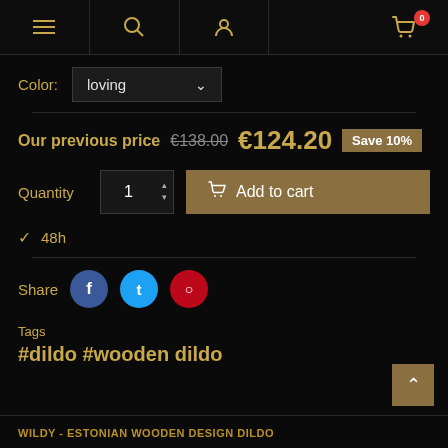Navigation bar with menu, search, account, and cart icons (0 items)
Color: loving
Our previous price €138.00 €124.20 Save 10%
Quantity 1 Add to cart
✓ 48h
Share
Tags
#dildo #wooden dildo
WILDY - ESTONIAN WOODEN DESIGN DILDO